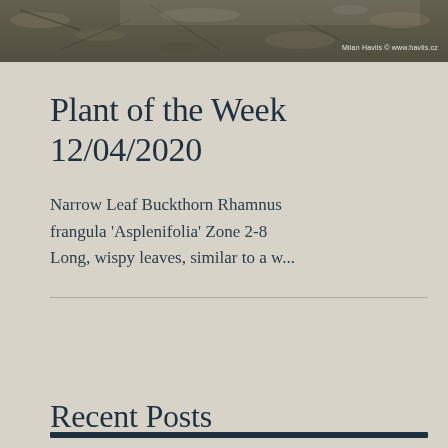[Figure (photo): Outdoor nature photograph showing ground cover with leaves, branches and debris, with a photo credit watermark in the top right corner reading 'Milan Havlis © www.havlis.cz']
Plant of the Week 12/04/2020
Narrow Leaf Buckthorn Rhamnus frangula 'Asplenifolia' Zone 2-8 Long, wispy leaves, similar to a w...
Recent Posts